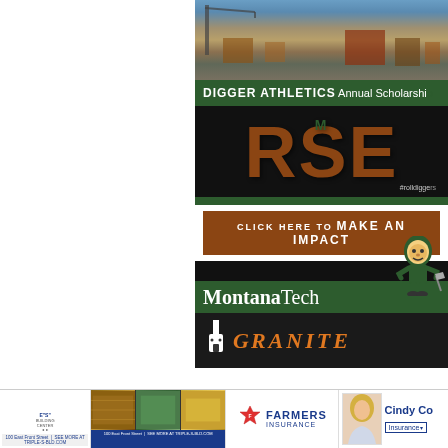[Figure (photo): Aerial photograph of a mining/industrial town with cranes and buildings visible against a landscape background]
DIGGER ATHLETICS Annual Scholarship
[Figure (infographic): Black background promotional graphic with large brown RISE text, Montana Tech M logo, #rolldiggers hashtag, brown button saying CLICK HERE TO MAKE AN IMPACT, and Montana Tech logo with mascot figure at bottom]
[Figure (photo): Granite logo strip showing icon and stylized text GRANITE on dark background]
[Figure (logo): Bottom advertisement bar with three ads: Triple-S Building Supply, Farmers Insurance, and Cindy Co Insurance]
100 East Front Street | SEE MORE AT TRIPLE-S-BLD.COM